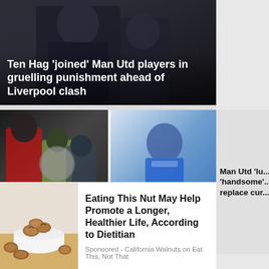[Figure (photo): Dark photo of man in suit, likely football manager Ten Hag]
Ten Hag 'joined' Man Utd players in gruelling punishment ahead of Liverpool clash
[Figure (photo): Football scene with players and referee arguing, Man Utd red shirts visible]
'Concerned' Ten Hag gives Ronaldo two options, Man Utd...
[Figure (photo): Chelsea player in blue jersey with number 23, Conor Gallagher running]
Gallagher doomed to fail at Chelsea as loan move only...
Man Utd 'lu... 'handsome'... replace cur...
[Figure (photo): Bowl of walnuts on table with scattered walnuts around it]
Eating This Nut May Help Promote a Longer, Healthier Life, According to Dietitian
Sponsored - California Walnuts on Eat This, Not That